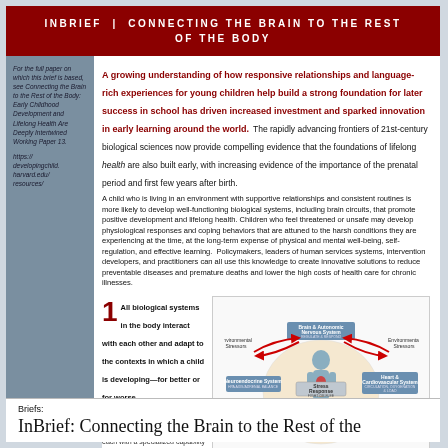INBRIEF | CONNECTING THE BRAIN TO THE REST OF THE BODY
For the full paper on which this brief is based, see Connecting the Brain to the Rest of the Body: Early Childhood Development and Lifelong Health Are Deeply Intertwined Working Paper 13.

https://developingchild.harvard.edu/resources/
A growing understanding of how responsive relationships and language-rich experiences for young children help build a strong foundation for later success in school has driven increased investment and sparked innovation in early learning around the world. The rapidly advancing frontiers of 21st-century biological sciences now provide compelling evidence that the foundations of lifelong health are also built early, with increasing evidence of the importance of the prenatal period and first few years after birth.
A child who is living in an environment with supportive relationships and consistent routines is more likely to develop well-functioning biological systems, including brain circuits, that promote positive development and lifelong health. Children who feel threatened or unsafe may develop physiological responses and coping behaviors that are attuned to the harsh conditions they are experiencing at the time, at the long-term expense of physical and mental well-being, self-regulation, and effective learning. Policymakers, leaders of human services systems, intervention developers, and practitioners can all use this knowledge to create innovative solutions to reduce preventable diseases and premature deaths and lower the high costs of health care for chronic illnesses.
1 All biological systems in the body interact with each other and adapt to the contexts in which a child is developing—for better or for worse. The brain and all other organs and systems in the body are like a team of highly skilled athletes, each with a specialized capability that complements the others and all of whom are dedicated to a common goal.
[Figure (infographic): Diagram showing biological systems interacting: Environmental Stressors (left and right), Brain & Autonomic Nervous System at top, Neuroendocrine System (left), Immune System (bottom left), Heart & Cardiovascular System (right), Gut & Metabolic System (bottom right), with Stress Response in center and a human body silhouette. Red arrows show bidirectional connections.]
Briefs:
InBrief: Connecting the Brain to the Rest of the